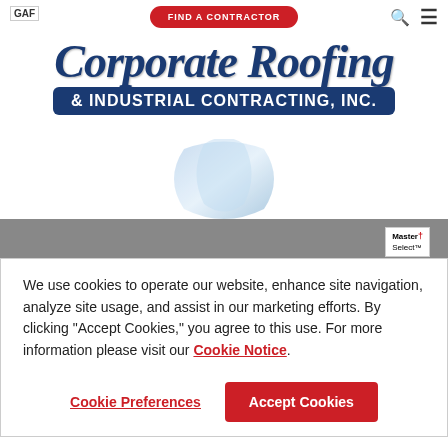[Figure (logo): GAF logo in top-left corner]
[Figure (screenshot): Navigation bar with Find a Contractor red button, search icon, and hamburger menu]
[Figure (logo): Corporate Roofing & Industrial Contracting, Inc. company logo with blue ribbon graphic]
[Figure (screenshot): Gray banner bar with Master Select badge on right side]
Corporate Roofing
Serving Bethany, LA    17.1 ml
5.0 ★★★★★ (4)
We use cookies to operate our website, enhance site navigation, analyze site usage, and assist in our marketing efforts. By clicking "Accept Cookies," you agree to this use. For more information please visit our Cookie Notice.
Cookie Preferences
Accept Cookies